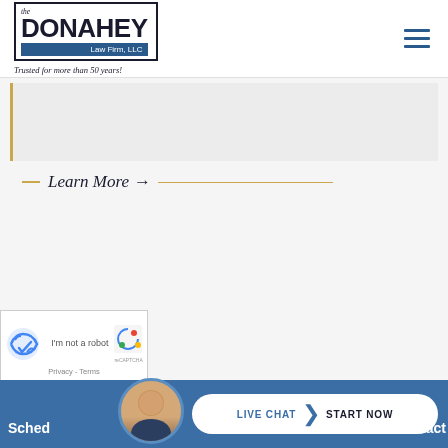[Figure (logo): The Donahey Law Firm, LLC logo with tagline 'Trusted for more than 50 years!']
Learn More →
[Figure (other): reCAPTCHA widget with Privacy and Terms links]
LIVE CHAT | START NOW
Sched... ontact